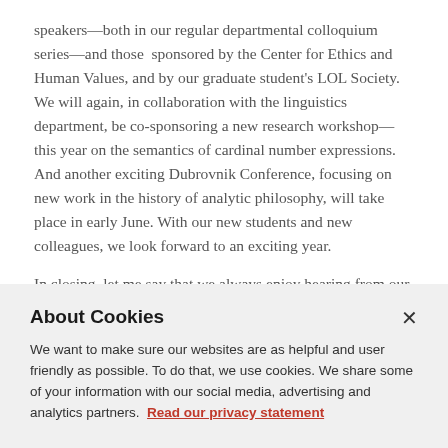speakers—both in our regular departmental colloquium series—and those sponsored by the Center for Ethics and Human Values, and by our graduate student's LOL Society. We will again, in collaboration with the linguistics department, be co-sponsoring a new research workshop—this year on the semantics of cardinal number expressions. And another exciting Dubrovnik Conference, focusing on new work in the history of analytic philosophy, will take place in early June. With our new students and new colleagues, we look forward to an exciting year.
In closing, let me say that we always enjoy hearing from our alumni. Please let us know what you are doing.  Also, be
About Cookies
We want to make sure our websites are as helpful and user friendly as possible. To do that, we use cookies. We share some of your information with our social media, advertising and analytics partners.  Read our privacy statement